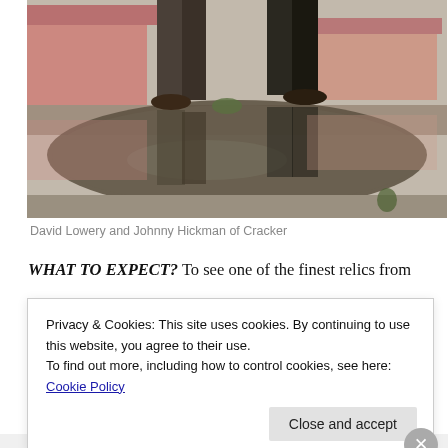[Figure (photo): Two people (David Lowery and Johnny Hickman of Cracker) standing near a puddle reflecting a pink house and buildings. Only their legs and boots are visible, reflected in the water on a street.]
David Lowery and Johnny Hickman of Cracker
WHAT TO EXPECT?  To see one of the finest relics from
Privacy & Cookies: This site uses cookies. By continuing to use this website, you agree to their use.
To find out more, including how to control cookies, see here: Cookie Policy